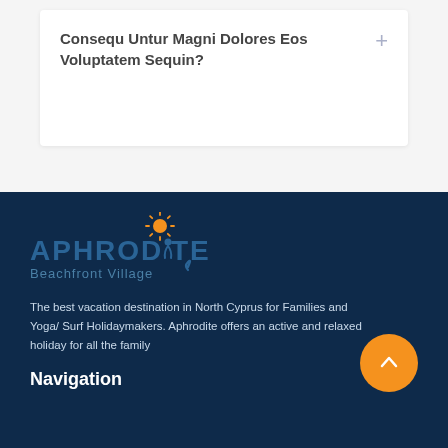Consequ Untur Magni Dolores Eos Voluptatem Sequin?
[Figure (logo): Aphrodite Beachfront Village logo with sun and figure icons in blue and orange]
The best vacation destination in North Cyprus for Families and Yoga/ Surf Holidaymakers. Aphrodite offers an active and relaxed holiday for all the family
Navigation